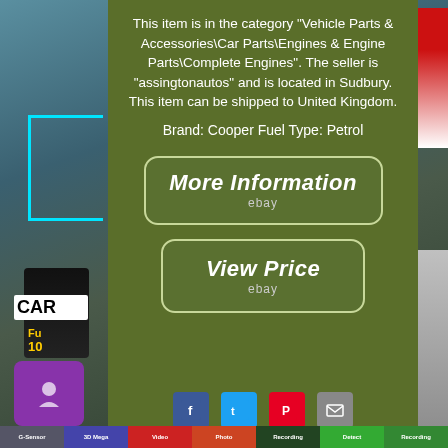This item is in the category "Vehicle Parts & Accessories\Car Parts\Engines & Engine Parts\Complete Engines". The seller is "assingtonautos" and is located in Sudbury. This item can be shipped to United Kingdom.
Brand: Cooper Fuel Type: Petrol
[Figure (screenshot): Button linking to eBay listing with text 'More Information' and 'ebay' subtitle]
[Figure (screenshot): Button linking to eBay listing with text 'View Price' and 'ebay' subtitle]
[Figure (infographic): Social sharing icons: Facebook, Twitter, Pinterest, Email]